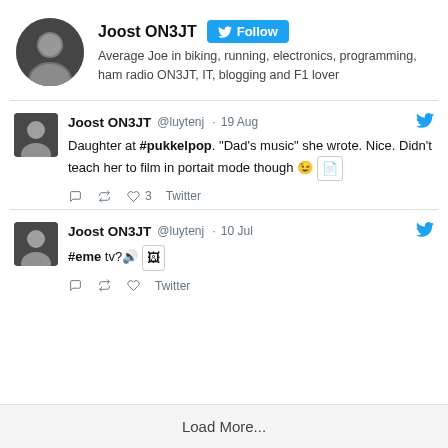Joost ON3JT
Average Joe in biking, running, electronics, programming, ham radio ON3JT, IT, blogging and F1 lover
Joost ON3JT @luytenj · 19 Aug
Daughter at #pukkelpop. "Dad's music" she wrote. Nice. Didn't teach her to film in portait mode though 😉 [image]
♡ 3  Twitter
Joost ON3JT @luytenj · 10 Jul
#eme tv?🔊 [image]
Twitter
Load More...